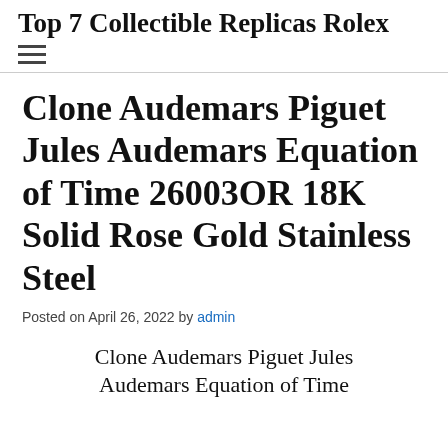Top 7 Collectible Replicas Rolex
Clone Audemars Piguet Jules Audemars Equation of Time 26003OR 18K Solid Rose Gold Stainless Steel
Posted on April 26, 2022 by admin
Clone Audemars Piguet Jules Audemars Equation of Time